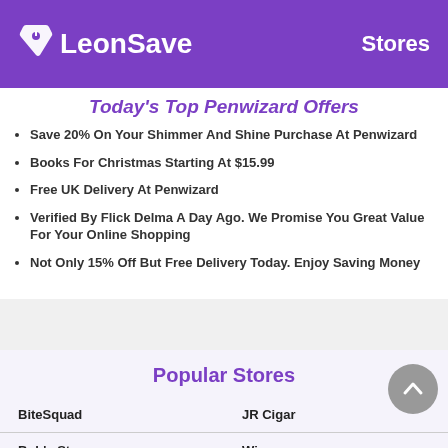LeonSave — Stores
Today's Top Penwizard Offers
Save 20% On Your Shimmer And Shine Purchase At Penwizard
Books For Christmas Starting At $15.99
Free UK Delivery At Penwizard
Verified By Flick Delma A Day Ago. We Promise You Great Value For Your Online Shopping
Not Only 15% Off But Free Delivery Today. Enjoy Saving Money
Popular Stores
| BiteSquad | JR Cigar |
| Bob's Stores | Wix |